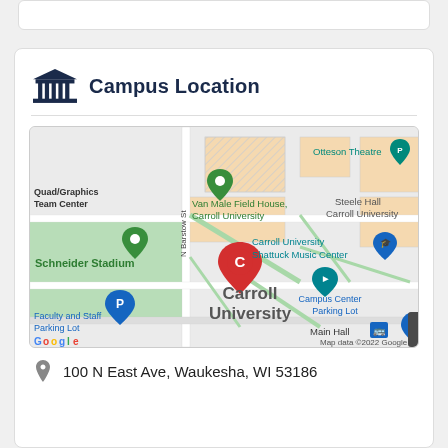Campus Location
[Figure (map): Google Maps view of Carroll University campus in Waukesha, WI. Shows Schneider Stadium, Van Male Field House, Otteson Theatre, Steele Hall, Carroll University Shattuck Music Center, Faculty and Staff Parking Lot, Campus Center Parking Lot, Main Hall, and N Barstow St. A red 'C' marker indicates the main campus location. Map data ©2022 Google.]
100 N East Ave, Waukesha, WI 53186